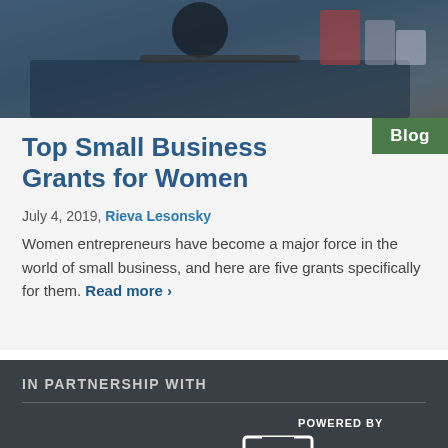[Figure (photo): Photo of a person working on a car engine, partially visible at the top of the page]
Top Small Business Grants for Women
July 4, 2019, Rieva Lesonsky
Women entrepreneurs have become a major force in the world of small business, and here are five grants specifically for them. Read more ›
IN PARTNERSHIP WITH
[Figure (logo): Deluxe logo in white text on dark background]
[Figure (logo): POWERED BY - SBA U.S. Small Business Administration logo]